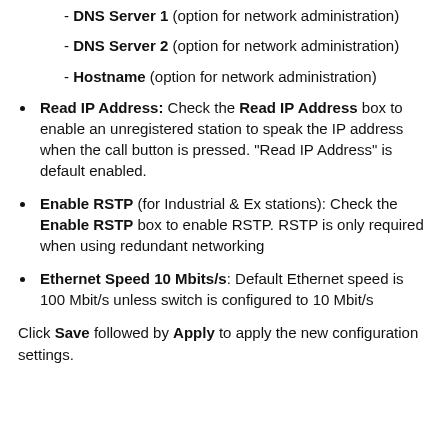- DNS Server 1 (option for network administration)
- DNS Server 2 (option for network administration)
- Hostname (option for network administration)
Read IP Address: Check the Read IP Address box to enable an unregistered station to speak the IP address when the call button is pressed. "Read IP Address" is default enabled.
Enable RSTP (for Industrial & Ex stations): Check the Enable RSTP box to enable RSTP. RSTP is only required when using redundant networking
Ethernet Speed 10 Mbits/s: Default Ethernet speed is 100 Mbit/s unless switch is configured to 10 Mbit/s
Click Save followed by Apply to apply the new configuration settings.